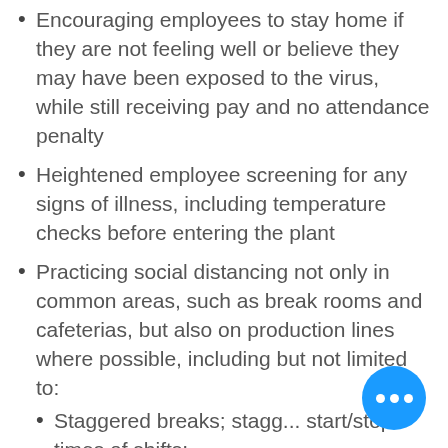Encouraging employees to stay home if they are not feeling well or believe they may have been exposed to the virus, while still receiving pay and no attendance penalty
Heightened employee screening for any signs of illness, including temperature checks before entering the plant
Practicing social distancing not only in common areas, such as break rooms and cafeterias, but also on production lines where possible, including but not limited to:
Staggered breaks; stagg... start/stop times of shifts;